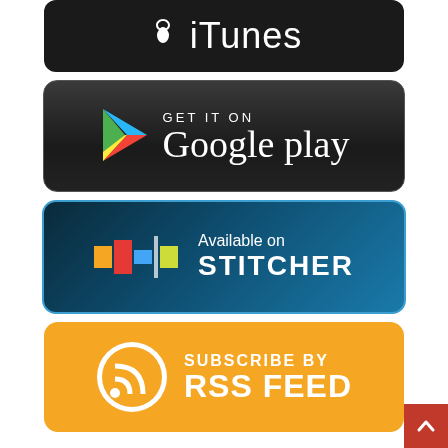[Figure (logo): iTunes download button - black rounded rectangle with Apple logo and 'iTunes' text in white]
[Figure (logo): Google Play 'Get it on' button - dark rounded rectangle with Google Play logo triangle and text]
[Figure (logo): Stitcher 'Available on' button - dark blue rounded rectangle with Stitcher logo and text]
[Figure (logo): RSS Feed subscribe button - orange rounded rectangle with RSS icon and 'SUBSCRIBE BY RSS FEED' text]
Or enter your email address to subscribe to the big show to receive notifications of new episodes and articles!